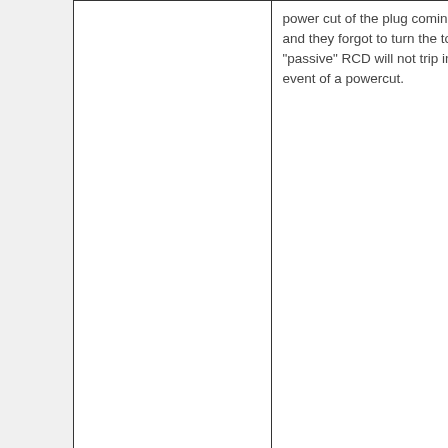| [image] | power cut of the plug coming out, and they forgot to turn the tool off! A "passive" RCD will not trip in the event of a powercut. |
| Integrated RCD Spur | A RCD integrated into a spur connection unit. Designed to provide individual RCD |